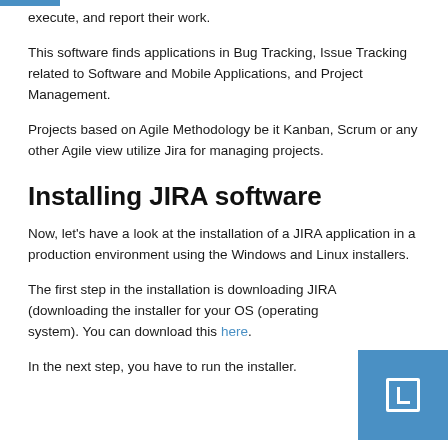execute, and report their work.
This software finds applications in Bug Tracking, Issue Tracking related to Software and Mobile Applications, and Project Management.
Projects based on Agile Methodology be it Kanban, Scrum or any other Agile view utilize Jira for managing projects.
Installing JIRA software
Now, let’s have a look at the installation of a JIRA application in a production environment using the Windows and Linux installers.
The first step in the installation is downloading JIRA (downloading the installer for your OS (operating system). You can download this here.
In the next step, you have to run the installer.